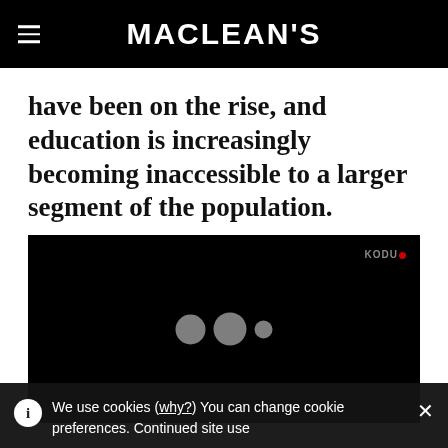MACLEAN'S
have been on the rise, and education is increasingly becoming inaccessible to a larger segment of the population.
[Figure (screenshot): Dark video player with loading dots and a small logo watermark in the top right corner]
We use cookies (why?) You can change cookie preferences. Continued site use